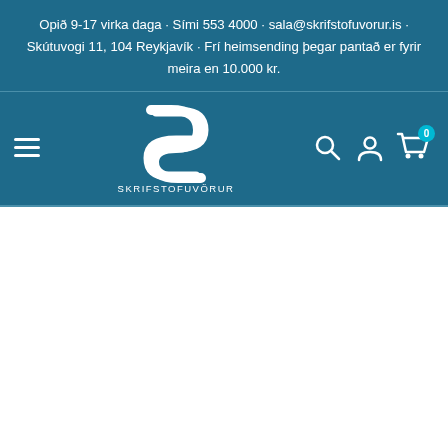Opið 9-17 virka daga · Sími 553 4000 · sala@skrifstofuvorur.is · Skútuvogi 11, 104 Reykjavík · Frí heimsending þegar pantað er fyrir meira en 10.000 kr.
[Figure (logo): Skrifstofuvörur logo: stylized S shape in white on teal background with text SKRIFSTOFUVÖRUR below]
[Figure (infographic): Navigation bar with hamburger menu icon on left, logo in center, search/account/cart icons on right. Cart shows badge with 0.]